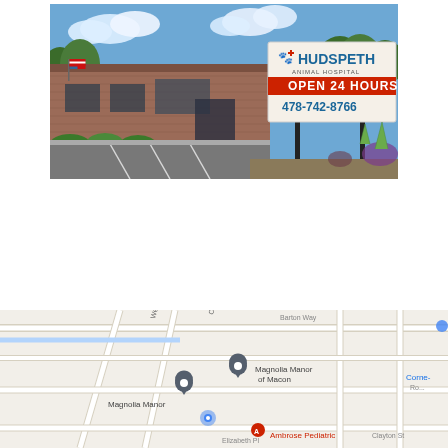[Figure (photo): Exterior photo of Hudspeth Animal Hospital, a brick building with a large sign reading 'HUDSPETH ANIMAL HOSPITAL OPEN 24 HOURS 478-742-8766', parking lot in front, American flag on building, blue sky with clouds in background.]
[Figure (map): Google Maps screenshot showing the area near Hudspeth Animal Hospital in Macon, GA. Visible landmarks include Magnolia Manor, Magnolia Manor of Macon, Ambrose Pediatric, and Cornerstone Road. Streets visible include Wesley, Candle, Elizabeth Pl, and Clayton St.]